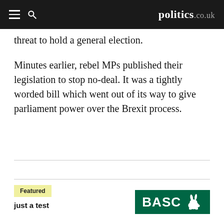politics.co.uk
threat to hold a general election.
Minutes earlier, rebel MPs published their legislation to stop no-deal. It was a tightly worded bill which went out of its way to give parliament power over the Brexit process.
Featured
just a test
[Figure (logo): BASC logo — green rectangle with white bold text 'BASC' and a white rabbit/hare icon to the right]